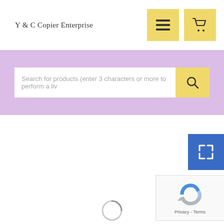Y & C Copier Enterprise
[Figure (screenshot): Search bar on purple/lavender background with text: Search for products (enter 3 characters or more to perform a live search), and a yellow search button with magnifying glass icon]
[Figure (other): Blue expand/fullscreen button with white corner-arrow icon]
[Figure (other): reCAPTCHA widget showing logo with Privacy and Terms links]
[Figure (other): Loading spinner circle at bottom center]